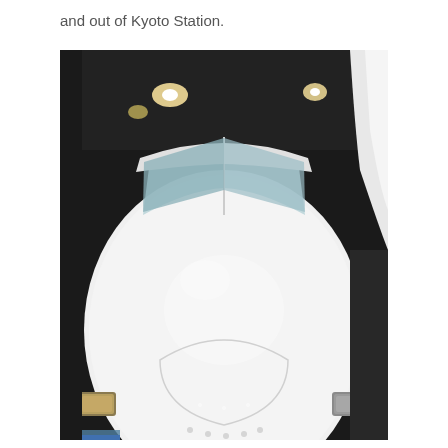and out of Kyoto Station.
[Figure (photo): Front-facing close-up photograph of a white Shinkansen bullet train nose, showing the rounded aerodynamic nose cone, windshield, and two small yellow marker lights at the bottom corners. The train is displayed indoors against a dark ceiling with spotlights.]